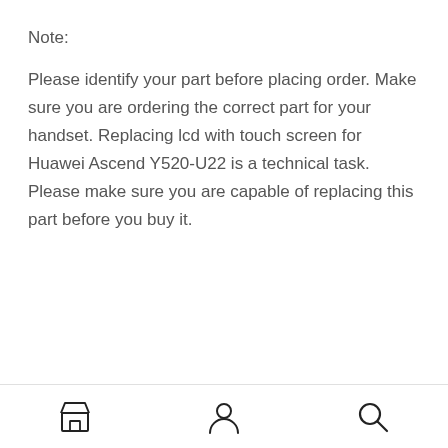Note:
Please identify your part before placing order. Make sure you are ordering the correct part for your handset. Replacing lcd with touch screen for Huawei Ascend Y520-U22 is a technical task. Please make sure you are capable of replacing this part before you buy it.
[Figure (other): Bottom navigation bar with three icons: a store/shop icon, a person/account icon, and a search/magnifying glass icon.]